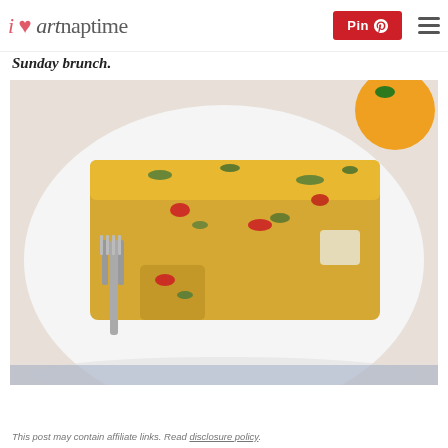i heart naptime | Pin | menu
Sunday brunch.
[Figure (photo): A close-up photo of a slice of egg breakfast casserole with vegetables (red peppers, greens, cheese) on a white plate with a fork lifting a bite, and an orange partially visible in the background.]
This post may contain affiliate links. Read disclosure policy.